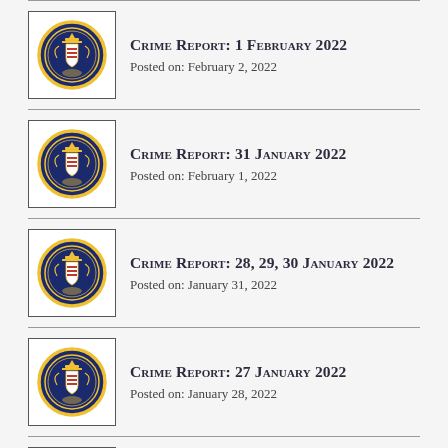Crime Report: 1 February 2022
Posted on: February 2, 2022
Crime Report: 31 January 2022
Posted on: February 1, 2022
Crime Report: 28, 29, 30 January 2022
Posted on: January 31, 2022
Crime Report: 27 January 2022
Posted on: January 28, 2022
Crime Report: 26 January 2022
Posted on: January 27, 2022
Crime Report: 25 January 2022